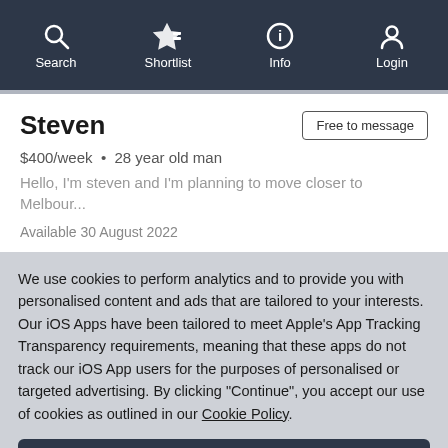Search  Shortlist  Info  Login
Steven
$400/week • 28 year old man
Hello, I'm steven and I'm planning to move closer to Melbour...
Available 30 August 2022
We use cookies to perform analytics and to provide you with personalised content and ads that are tailored to your interests. Our iOS Apps have been tailored to meet Apple's App Tracking Transparency requirements, meaning that these apps do not track our iOS App users for the purposes of personalised or targeted advertising. By clicking "Continue", you accept our use of cookies as outlined in our Cookie Policy.
Continue